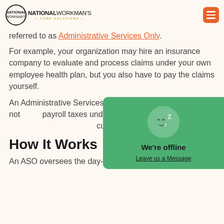NATIONAL WORKMAN'S COMP SOLUTIONS
referred to as Administrative Services Only.
For example, your organization may hire an insurance company to evaluate and process claims under your own employee health plan, but you also have to pay the claims yourself.
An Administrative Services Organization, likewise, does not payroll taxes under sponsor any health customer.
How It Works
An ASO oversees the day-to-day